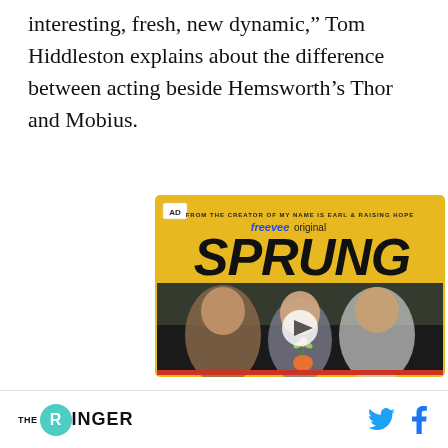interesting, fresh, new dynamic," Tom Hiddleston explains about the difference between acting beside Hemsworth's Thor and Mobius.
[Figure (screenshot): Advertisement for 'Sprung', a Freevee Original show from the creator of My Name Is Earl & Raising Hope. Yellow banner with bold title 'SPRUNG' above a photo of three people sitting in a car. A play button is overlaid on the image. AD badge visible in top left.]
THE RINGER [with Twitter and Facebook icons]